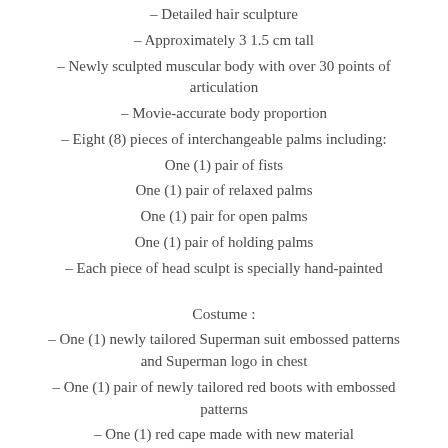– Detailed hair sculpture
– Approximately 31.5 cm tall
– Newly sculpted muscular body with over 30 points of articulation
– Movie-accurate body proportion
– Eight (8) pieces of interchangeable palms including:
One (1) pair of fists
One (1) pair of relaxed palms
One (1) pair for open palms
One (1) pair of holding palms
– Each piece of head sculpt is specially hand-painted
Costume :
– One (1) newly tailored Superman suit embossed patterns and Superman logo in chest
– One (1) pair of newly tailored red boots with embossed patterns
– One (1) red cape made with new material